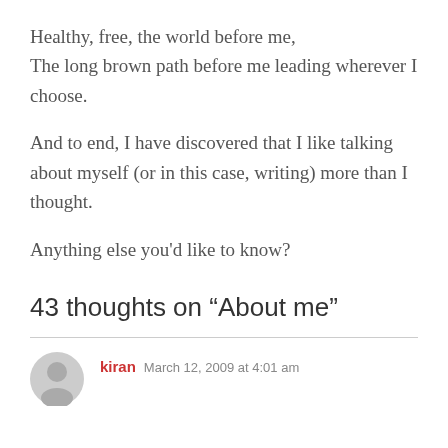Healthy, free, the world before me,
The long brown path before me leading wherever I choose.
And to end, I have discovered that I like talking about myself (or in this case, writing) more than I thought.
Anything else you’d like to know?
43 thoughts on “About me”
kiran  March 12, 2009 at 4:01 am